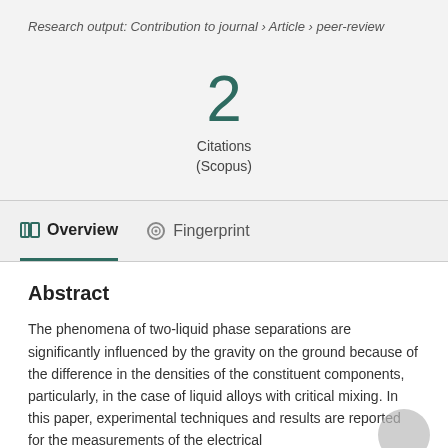Research output: Contribution to journal › Article › peer-review
2
Citations
(Scopus)
Overview
Fingerprint
Abstract
The phenomena of two-liquid phase separations are significantly influenced by the gravity on the ground because of the difference in the densities of the constituent components, particularly, in the case of liquid alloys with critical mixing. In this paper, experimental techniques and results are reported for the measurements of the electrical